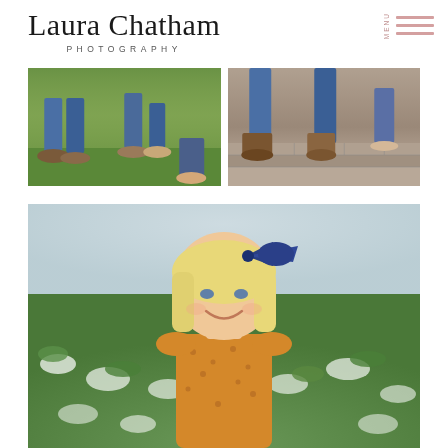Laura Chatham PHOTOGRAPHY
[Figure (photo): Two photos side by side showing people's feet and legs. Left photo: feet on grass wearing casual shoes. Right photo: feet on brick steps wearing boots and jeans.]
[Figure (photo): Portrait of a young blonde girl with a navy blue bow in her hair, wearing a mustard yellow floral dress, smiling, standing in front of a garden with white flowers.]